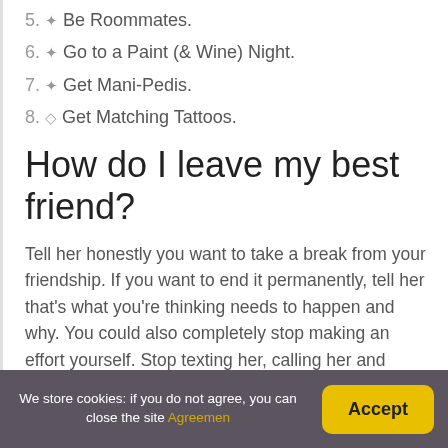5. ✦ Be Roommates.
6. ✦ Go to a Paint (& Wine) Night.
7. ✦ Get Mani-Pedis.
8. ◇ Get Matching Tattoos.
How do I leave my best friend?
Tell her honestly you want to take a break from your friendship. If you want to end it permanently, tell her that's what you're thinking needs to happen and why. You could also completely stop making an effort yourself. Stop texting her, calling her and talking to her.
We store cookies: if you do not agree, you can close the site Agreement